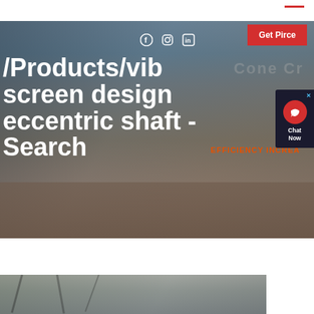/Products/vibrating screen design eccentric shaft - Search
Get Pirce
Chat Now
EFFICIENCY INCREA
[Figure (photo): Industrial mining/crushing facility with machinery, conveyor belts, and equipment against a sky background. Cone crusher branding visible.]
[Figure (photo): Interior of industrial facility showing structural framework and equipment.]